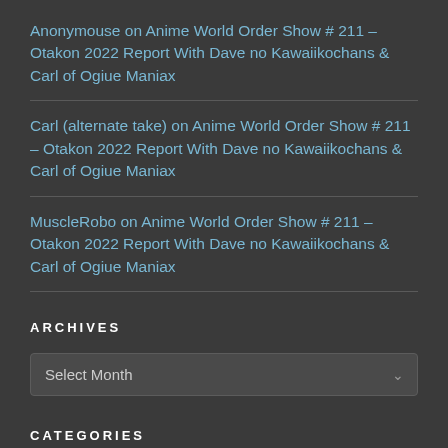Anonymouse on Anime World Order Show # 211 – Otakon 2022 Report With Dave no Kawaiikochans & Carl of Ogiue Maniax
Carl (alternate take) on Anime World Order Show # 211 – Otakon 2022 Report With Dave no Kawaiikochans & Carl of Ogiue Maniax
MuscleRobo on Anime World Order Show # 211 – Otakon 2022 Report With Dave no Kawaiikochans & Carl of Ogiue Maniax
ARCHIVES
Select Month
CATEGORIES